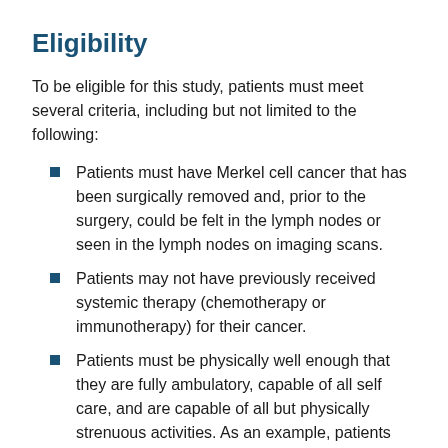Eligibility
To be eligible for this study, patients must meet several criteria, including but not limited to the following:
Patients must have Merkel cell cancer that has been surgically removed and, prior to the surgery, could be felt in the lymph nodes or seen in the lymph nodes on imaging scans.
Patients may not have previously received systemic therapy (chemotherapy or immunotherapy) for their cancer.
Patients must be physically well enough that they are fully ambulatory, capable of all self care, and are capable of all but physically strenuous activities. As an example, patients